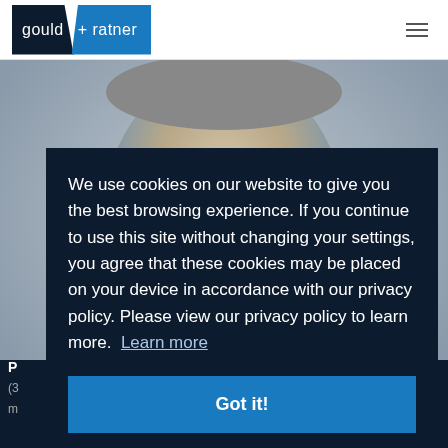[Figure (logo): Gould + Ratner law firm logo with dark navy and blue parallelogram shapes]
[Figure (photo): Close-up photo of an older man with glasses and grey stubble, partially obscured by cookie consent modal]
We use cookies on our website to give you the best browsing experience. If you continue to use this site without changing your settings, you agree that these cookies may be placed on your device in accordance with our privacy policy. Please view our privacy policy to learn more. Learn more
Got it!